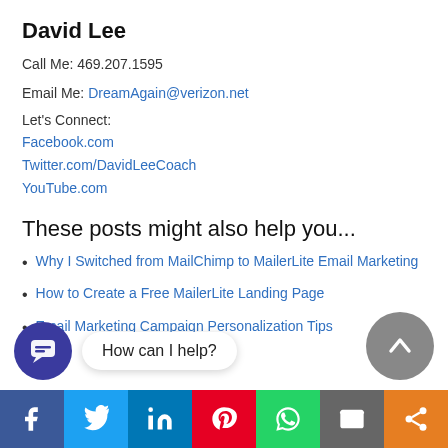David Lee
Call Me: 469.207.1595
Email Me: DreamAgain@verizon.net
Let's Connect:
Facebook.com
Twitter.com/DavidLeeCoach
YouTube.com
These posts might also help you...
Why I Switched from MailChimp to MailerLite Email Marketing
How to Create a Free MailerLite Landing Page
Email Marketing Campaign Personalization Tips